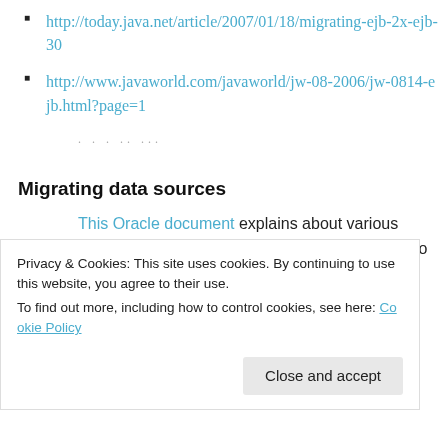http://today.java.net/article/2007/01/18/migrating-ejb-2x-ejb-30
http://www.javaworld.com/javaworld/jw-08-2006/jw-0814-ejb.html?page=1
. . . ... ...
Migrating data sources
This Oracle document explains about various data sources migration options. What I did was to create
Privacy & Cookies: This site uses cookies. By continuing to use this website, you agree to their use.
To find out more, including how to control cookies, see here: Cookie Policy